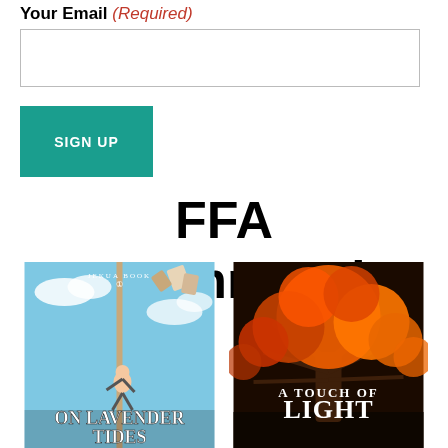Your Email (Required)
[Figure (other): Email input text field box]
[Figure (other): SIGN UP button in teal/green color]
FFA Recommends
[Figure (illustration): Book cover: On Lavender Tides, Jekua Book 1, showing a figure climbing a pole against a sky background]
[Figure (illustration): Book cover: A Touch of Light, showing an autumn tree with orange/red foliage]